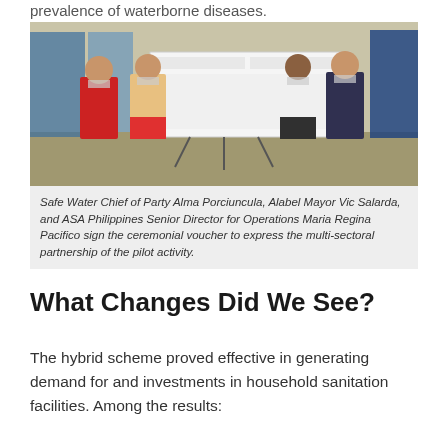prevalence of waterborne diseases.
[Figure (photo): Group photo of four people standing in front of a ceremonial banner/voucher display with USAID and DAI logos. From left: a man in a red shirt and mask, a woman in a floral top and red pants with mask, a woman in white top and dark pants with mask, and a woman in dark uniform with mask. They are in an indoor venue with exhibition banners in the background.]
Safe Water Chief of Party Alma Porciuncula, Alabel Mayor Vic Salarda, and ASA Philippines Senior Director for Operations Maria Regina Pacifico sign the ceremonial voucher to express the multi-sectoral partnership of the pilot activity.
What Changes Did We See?
The hybrid scheme proved effective in generating demand for and investments in household sanitation facilities. Among the results: